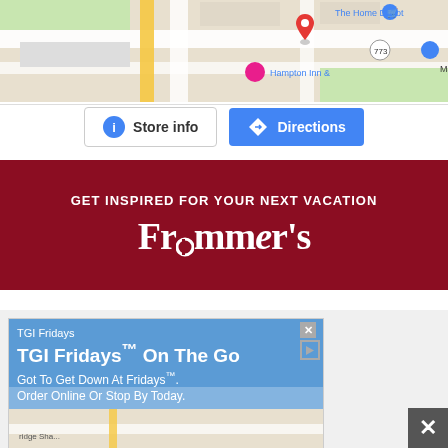[Figure (screenshot): Partial Google Maps view showing The Home Depot location near Hampton Inn]
[Figure (screenshot): Store info button and Directions button below the map]
[Figure (infographic): Frommer's travel advertisement banner with dark red background reading GET INSPIRED FOR YOUR NEXT VACATION and Frommer's logo]
[Figure (screenshot): TGI Fridays advertisement: TGI Fridays On The Go - Got To Get Down At Fridays. Order Online Or Stop By Today.]